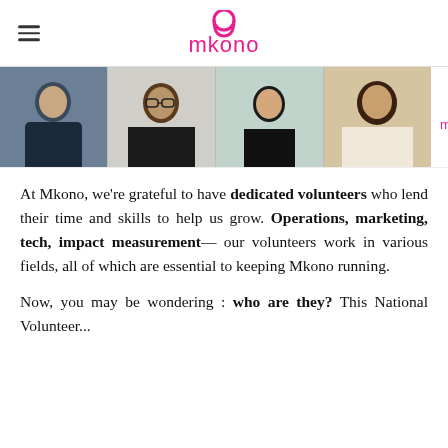mkono
[Figure (photo): Four headshot photos of volunteers side by side, with the mkono logo on the right]
At Mkono, we're grateful to have dedicated volunteers who lend their time and skills to help us grow. Operations, marketing, tech, impact measurement— our volunteers work in various fields, all of which are essential to keeping Mkono running.
Now, you may be wondering : who are they? This National Volunteer...